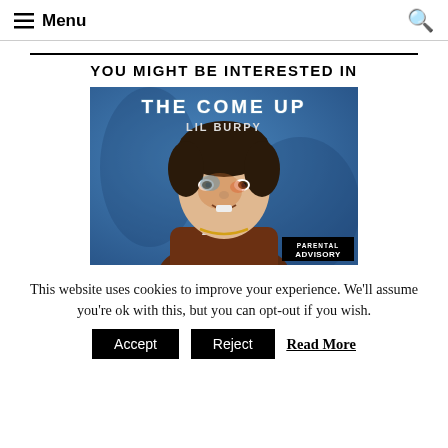Menu
YOU MIGHT BE INTERESTED IN
[Figure (illustration): Album cover for 'The Come Up' by Lil Burpy. Blue painted background with a portrait of a young boy. Text reads 'THE COME UP' and 'LIL BURPY' at the top. Parental Advisory label in bottom right corner.]
This website uses cookies to improve your experience. We'll assume you're ok with this, but you can opt-out if you wish.
Accept  Reject  Read More